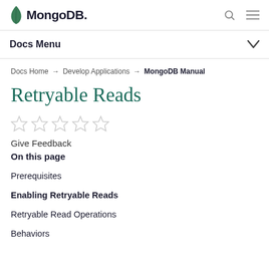MongoDB — Docs Menu
Docs Home → Develop Applications → MongoDB Manual
Retryable Reads
[Figure (other): Five empty star rating icons]
Give Feedback
On this page
Prerequisites
Enabling Retryable Reads
Retryable Read Operations
Behaviors